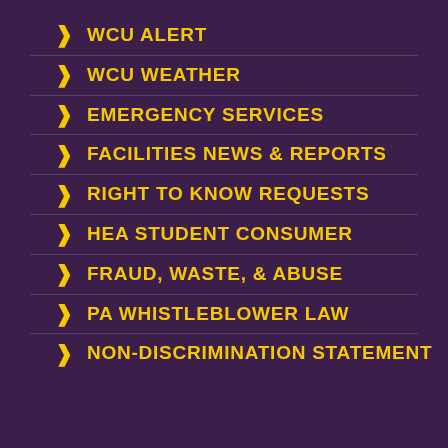WCU ALERT
WCU WEATHER
EMERGENCY SERVICES
FACILITIES NEWS & REPORTS
RIGHT TO KNOW REQUESTS
HEA STUDENT CONSUMER
FRAUD, WASTE, & ABUSE
PA WHISTLEBLOWER LAW
NON-DISCRIMINATION STATEMENT